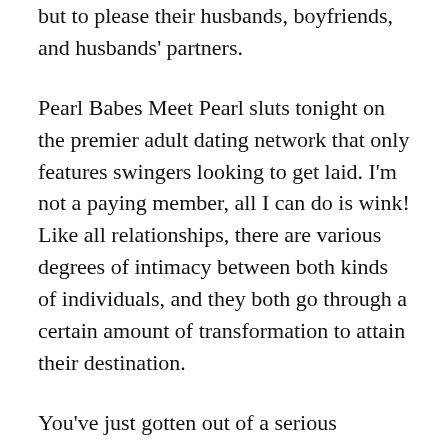but to please their husbands, boyfriends, and husbands' partners.
Pearl Babes Meet Pearl sluts tonight on the premier adult dating network that only features swingers looking to get laid. I'm not a paying member, all I can do is wink! Like all relationships, there are various degrees of intimacy between both kinds of individuals, and they both go through a certain amount of transformation to attain their destination.
You've just gotten out of a serious relationship and now you've decided to try a casual adult dating. It allows you to meet up and hook up with sexy local women who are looking for all sorts of fun. Many criminals earn their incomes from illegal prostitution activities.